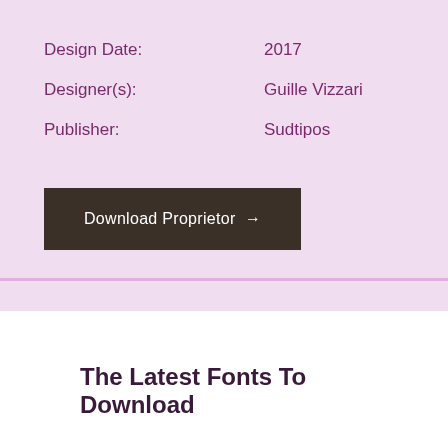Design Date:    2017
Designer(s):    Guille Vizzari
Publisher:    Sudtipos
Download Proprietor →
The Latest Fonts To Download
Spock